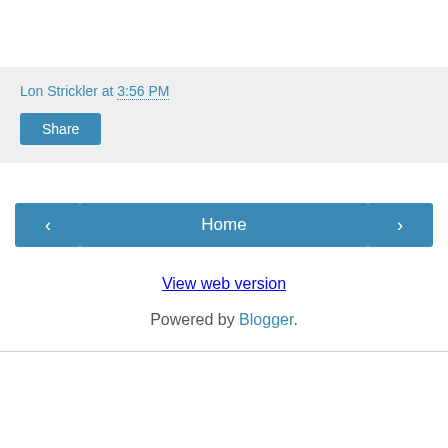Lon Strickler at 3:56 PM
Share
‹
Home
›
View web version
Powered by Blogger.